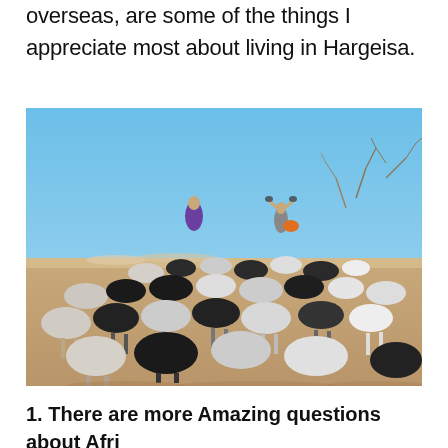overseas, are some of the things I appreciate most about living in Hargeisa.
[Figure (photo): A herd of black and white goats and sheep being herded across a dry, sandy landscape under a clear blue sky. Two herders are visible among the animals, one wearing a purple robe and another with arms raised. Dry brush and trees are visible in the background.]
1. There are more Amazing questions about Afri...